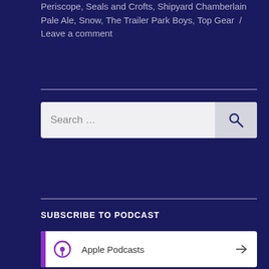Periscope, Seals and Crofts, Shipyard Chamberlain Pale Ale, Snow, The Trailer Park Boys, Top Gear / Leave a comment
[Figure (other): Search input box with search icon button]
SUBSCRIBE TO PODCAST
[Figure (other): Apple Podcasts subscription link with purple podcast icon and arrow]
[Figure (other): Android subscription link with green Android icon and arrow]
[Figure (other): RSS subscription link with orange RSS icon and arrow]